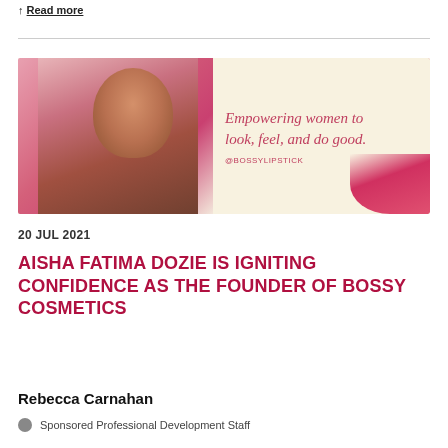Read more
[Figure (photo): Banner image for Bossy Cosmetics / Bossy Lipstick featuring a smiling Black woman in a white off-shoulder top against a pink lipstick-smear background on the left, and a cream background on the right with the cursive text 'Empowering women to look, feel, and do good.' and '@BOSSYLIPSTICK']
20 JUL 2021
AISHA FATIMA DOZIE IS IGNITING CONFIDENCE AS THE FOUNDER OF BOSSY COSMETICS
Rebecca Carnahan
Sponsored Professional Development Staff